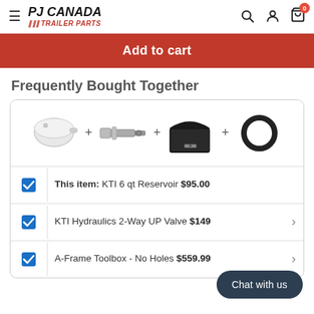PJ CANADA TRAILER PARTS — navigation header with hamburger menu, search, account, and cart icons
Add to cart
Frequently Bought Together
[Figure (photo): Four product images shown side by side with plus signs between them: a white reservoir canister, a hydraulic valve/bolt, a black A-frame toolbox, and an O-ring]
This item: KTI 6 qt Reservoir $95.00
KTI Hydraulics 2-Way UP Valve $149
A-Frame Toolbox - No Holes $559.99
Chat with us